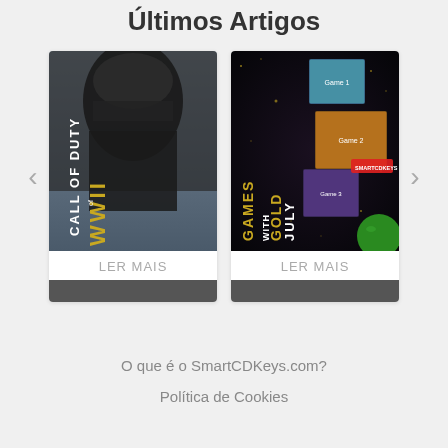Últimos Artigos
[Figure (screenshot): Card showing Call of Duty WWII game cover image with dark soldier imagery and gold/white text, below it a 'LER MAIS' label and dark bottom strip]
[Figure (screenshot): Card showing Games with Gold July promotional image with multiple game covers on dark starry background, below it a 'LER MAIS' label and dark bottom strip]
O que é o SmartCDKeys.com?
Política de Cookies